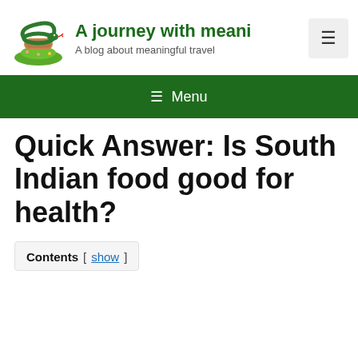A journey with meani... — A blog about meaningful travel
[Figure (logo): Snake wrapped around a log with foliage, travel blog logo]
≡ Menu
Quick Answer: Is South Indian food good for health?
Contents [ show ]